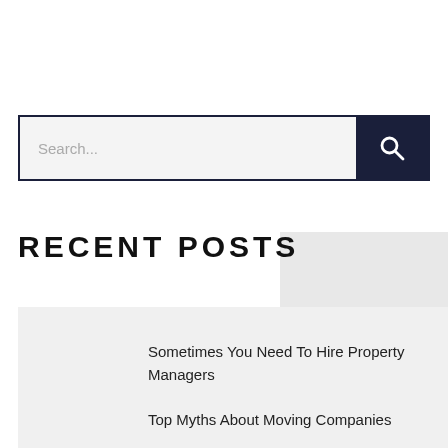[Figure (screenshot): Search bar with text input placeholder 'Search...' and a dark navy search button with magnifying glass icon]
RECENT POSTS
Sometimes You Need To Hire Property Managers
Top Myths About Moving Companies